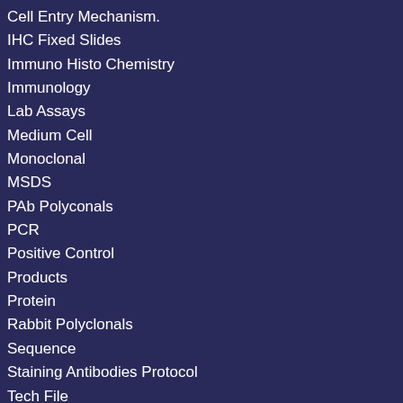Cell Entry Mechanism.
IHC Fixed Slides
Immuno Histo Chemistry
Immunology
Lab Assays
Medium Cell
Monoclonal
MSDS
PAb Polyconals
PCR
Positive Control
Products
Protein
Rabbit Polyclonals
Sequence
Staining Antibodies Protocol
Tech File
The Supramap project: linking pathogen genomes with geography to fight emergent infectious diseases